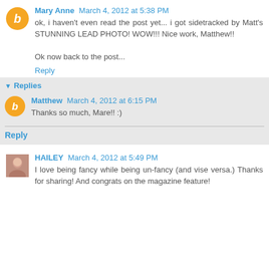Mary Anne  March 4, 2012 at 5:38 PM
ok, i haven't even read the post yet... i got sidetracked by Matt's STUNNING LEAD PHOTO! WOW!!! Nice work, Matthew!!

Ok now back to the post...
Reply
Replies
Matthew  March 4, 2012 at 6:15 PM
Thanks so much, Mare!! :)
Reply
HAILEY  March 4, 2012 at 5:49 PM
I love being fancy while being un-fancy (and vise versa.) Thanks for sharing! And congrats on the magazine feature!